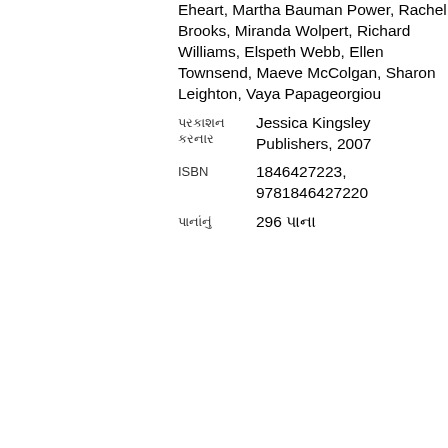Eheart, Martha Bauman Power, Rachel Brooks, Miranda Wolpert, Richard Williams, Elspeth Webb, Ellen Townsend, Maeve McColgan, Sharon Leighton, Vaya Papageorgiou
Jessica Kingsley Publishers, 2007
1846427223, 9781846427220
296